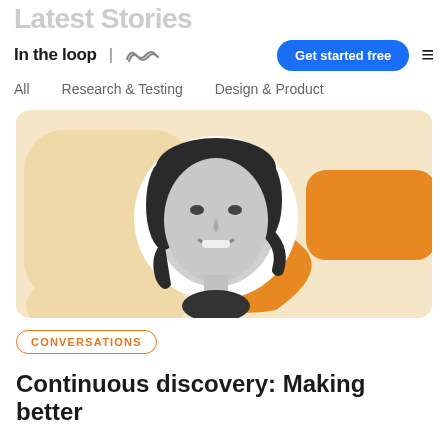Latest Stories
In the loop | [logo]  Get started free  ☰
All
Research & Testing
Design & Product
[Figure (illustration): Decorative illustration with warm beige/orange abstract shapes and a circular black-and-white portrait of a smiling woman with curly dark hair]
CONVERSATIONS
Continuous discovery: Making better